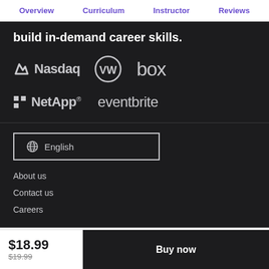Overview  Curriculum  Instructor  Reviews
build in-demand career skills.
[Figure (logo): Nasdaq logo — stylized N mark with 'Nasdaq' text]
[Figure (logo): Volkswagen VW circular logo]
[Figure (logo): Box logo — lowercase 'box' text]
[Figure (logo): NetApp logo — square grid icon with 'NetApp' text]
[Figure (logo): Eventbrite logo — lowercase 'eventbrite' text]
[Figure (other): Globe icon language selector button showing 'English']
About us
Contact us
Careers
$18.99
$19.99
Buy now